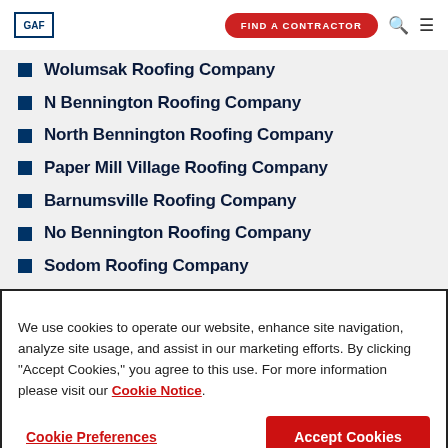GAF | FIND A CONTRACTOR
Wolumsak Roofing Company
N Bennington Roofing Company
North Bennington Roofing Company
Paper Mill Village Roofing Company
Barnumsville Roofing Company
No Bennington Roofing Company
Sodom Roofing Company
We use cookies to operate our website, enhance site navigation, analyze site usage, and assist in our marketing efforts. By clicking "Accept Cookies," you agree to this use. For more information please visit our Cookie Notice.
Cookie Preferences | Accept Cookies